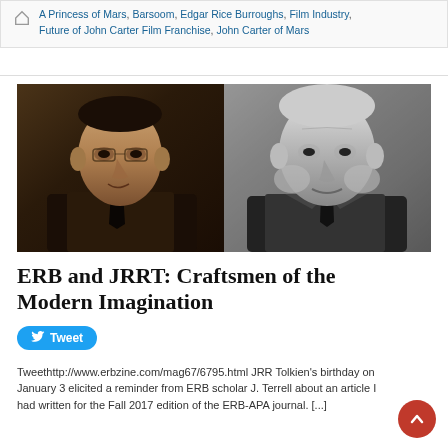A Princess of Mars, Barsoom, Edgar Rice Burroughs, Film Industry, Future of John Carter Film Franchise, John Carter of Mars
[Figure (photo): Black and white composite photo showing two men side by side: C.S. Lewis on the left (sepia toned) and J.R.R. Tolkien on the right (black and white)]
ERB and JRRT: Craftsmen of the Modern Imagination
Tweet
Tweethttp://www.erbzine.com/mag67/6795.html JRR Tolkien's birthday on January 3 elicited a reminder from ERB scholar J. Terrell about an article I had written for the Fall 2017 edition of the ERB-APA journal.  [...]